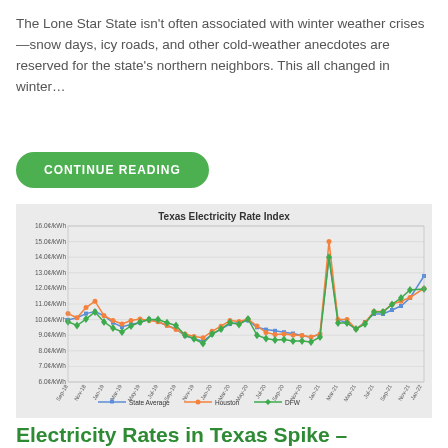The Lone Star State isn't often associated with winter weather crises—snow days, icy roads, and other cold-weather anecdotes are reserved for the state's northern neighbors. This all changed in winter…
CONTINUE READING
[Figure (line-chart): Texas Electricity Rate Index]
Electricity Rates in Texas Spike –